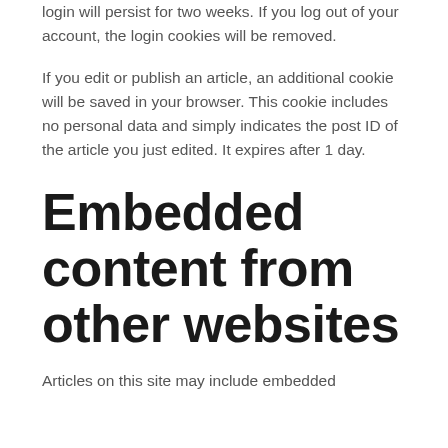login will persist for two weeks. If you log out of your account, the login cookies will be removed.
If you edit or publish an article, an additional cookie will be saved in your browser. This cookie includes no personal data and simply indicates the post ID of the article you just edited. It expires after 1 day.
Embedded content from other websites
Articles on this site may include embedded